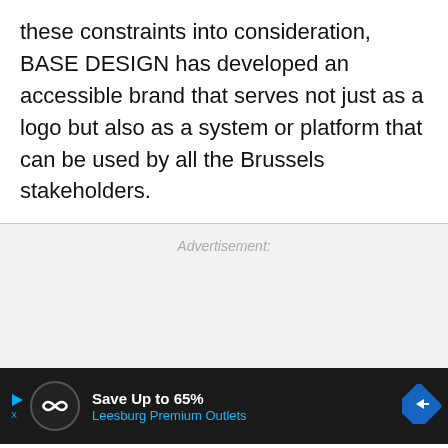these constraints into consideration, BASE DESIGN has developed an accessible brand that serves not just as a logo but also as a system or platform that can be used by all the Brussels stakeholders.
Advertisement:
[Figure (other): Advertisement banner at bottom of page: dark background with circular logo, text 'Save Up to 65% Leesburg Premium Outlets' in white and blue, with a blue diamond road sign icon. A red close button with X appears at the right side above the banner.]